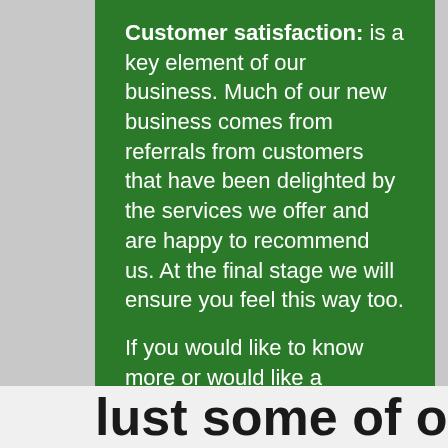Customer satisfaction: is a key element of our business. Much of our new business comes from referrals from customers that have been delighted by the services we offer and are happy to recommend us. At the final stage we will ensure you feel this way too.

If you would like to know more or would like a quotation, please do not hesitate to contact us.
Just some of our